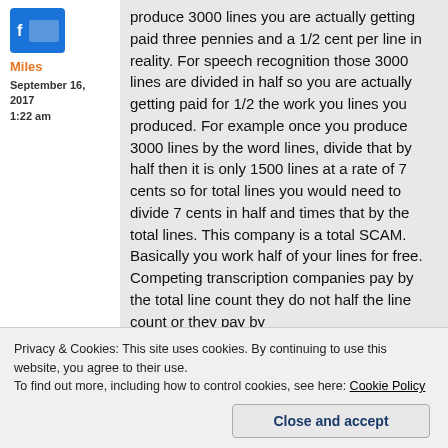Miles
September 16, 2017
1:22 am
produce 3000 lines you are actually getting paid three pennies and a 1/2 cent per line in reality. For speech recognition those 3000 lines are divided in half so you are actually getting paid for 1/2 the work you lines you produced. For example once you produce 3000 lines by the word lines, divide that by half then it is only 1500 lines at a rate of 7 cents so for total lines you would need to divide 7 cents in half and times that by the total lines. This company is a total SCAM. Basically you work half of your lines for free. Competing transcription companies pay by the total line count they do not half the line count or they pay by
Privacy & Cookies: This site uses cookies. By continuing to use this website, you agree to their use.
To find out more, including how to control cookies, see here: Cookie Policy
Close and accept